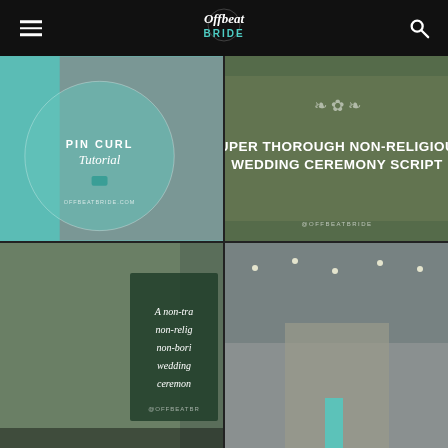Offbeat BRIDE
[Figure (photo): Pin Curl Tutorial - vintage style woman with teal circular overlay and text 'PIN CURL Tutorial']
[Figure (photo): Wedding party walking outdoors with overlay text 'SUPER THOROUGH NON-RELIGIOUS WEDDING CEREMONY SCRIPT' and @OFFBEATBRIDE watermark]
[Figure (photo): Two women at wedding with dark green overlay text 'A non-tra non-relig non-bori wedding ceremon' and @OFFBEATBR watermark]
[Figure (photo): Father and daughter embracing at outdoor wedding ceremony with string lights]
[Figure (photo): Partial bottom left image - cropped]
[Figure (photo): Partial bottom right image - cropped]